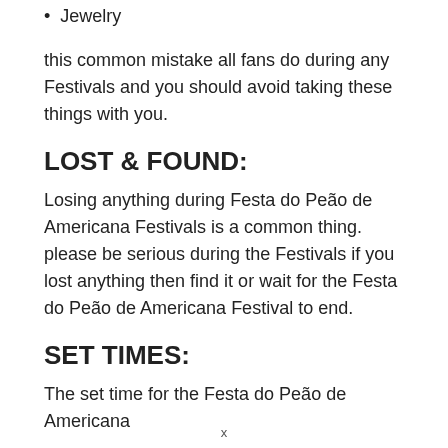Jewelry
this common mistake all fans do during any Festivals and you should avoid taking these things with you.
LOST & FOUND:
Losing anything during Festa do Peão de Americana Festivals is a common thing. please be serious during the Festivals if you lost anything then find it or wait for the Festa do Peão de Americana Festival to end.
SET TIMES:
The set time for the Festa do Peão de Americana
x